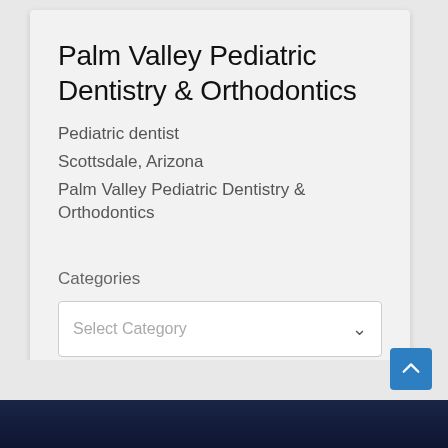Palm Valley Pediatric Dentistry & Orthodontics
Pediatric dentist
Scottsdale, Arizona
Palm Valley Pediatric Dentistry & Orthodontics
Categories
Select Category